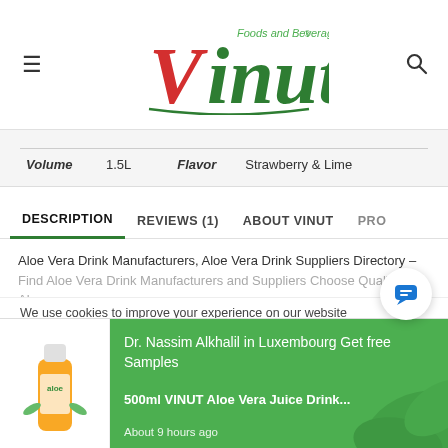[Figure (logo): Vinut Foods and Beverage logo with red and green lettering]
| Volume | 1.5L | Flavor | Strawberry & Lime |
DESCRIPTION | REVIEWS (1) | ABOUT VINUT | PRO...
Aloe Vera Drink Manufacturers, Aloe Vera Drink Suppliers Directory – Find Aloe Vera Drink Manufacturers and Suppliers Choose Quality Alo...
We use cookies to improve your experience on our website
Dr. Nassim Alkhalil in Luxembourg Get free Samples
500ml VINUT Aloe Vera Juice Drink...
About 9 hours ago